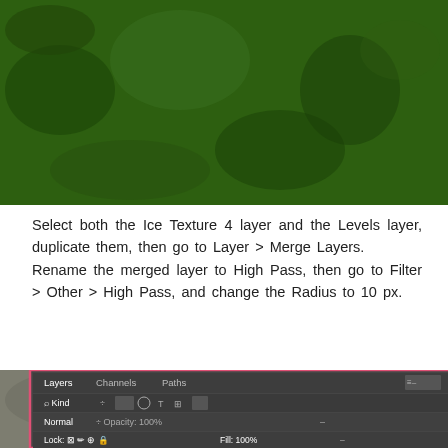[Figure (screenshot): Photoshop Levels adjustment dialog showing histogram with values 0, 1.04, 255 on a dark green textured image background]
Select both the Ice Texture 4 layer and the Levels layer, duplicate them, then go to Layer > Merge Layers.
Rename the merged layer to High Pass, then go to Filter > Other > High Pass, and change the Radius to 10 px.
[Figure (screenshot): Photoshop Layers panel showing 'High Pass' layer selected with green texture thumbnail, overlaid with High Pass filter dialog showing OK, Cancel, Preview options and 100% zoom, with a grayish preview of the filtered texture]